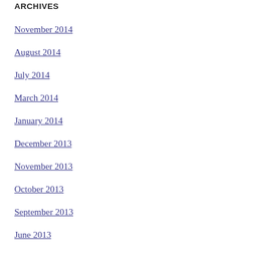ARCHIVES
November 2014
August 2014
July 2014
March 2014
January 2014
December 2013
November 2013
October 2013
September 2013
June 2013
CATEGORIES
Art Shows
Books
Celebrity Art Encounters